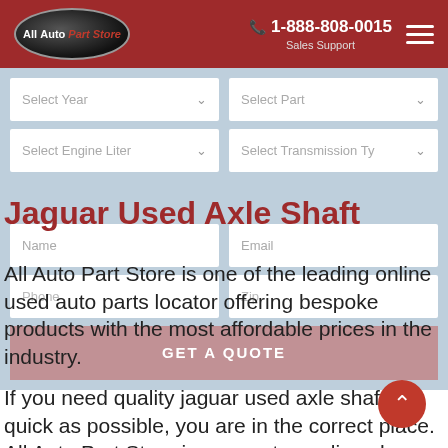[Figure (logo): All Auto Part Store logo — black oval with white and red text, car silhouette]
1-888-808-0015
Sales Support
[Figure (screenshot): Web form with dropdowns: Select Year, Select Part, Select Engine Liter, Select Transmission Type, and input fields: Name, Email, Phone, Zip, and a GET A QUOTE button]
Jaguar Used Axle Shaft
All Auto Part Store is one of the leading online used auto parts locator offering bespoke products with the most affordable prices in the industry.
If you need quality jaguar used axle shaft as quick as possible, you are in the correct place. All Auto Part Store is a one-stop online shop where